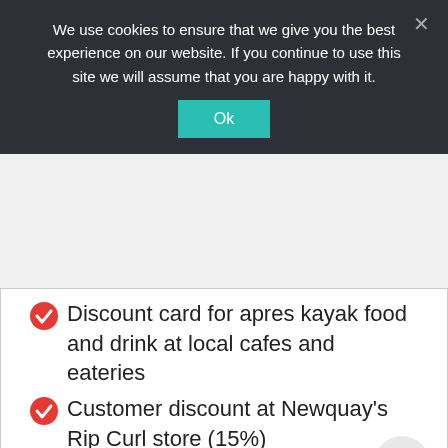We use cookies to ensure that we give you the best experience on our website. If you continue to use this site we will assume that you are happy with it.
Ok
Discount card for apres kayak food and drink at local cafes and eateries
Customer discount at Newquay's Rip Curl store (15%)
BOOK YOUR ACTIVITIES
We're Online!
How may I help you today?